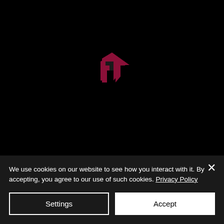[Figure (logo): Dark background with a dark red/maroon angular arrow or letter R logo mark in the center]
We use cookies on our website to see how you interact with it. By accepting, you agree to our use of such cookies. Privacy Policy
Settings
Accept